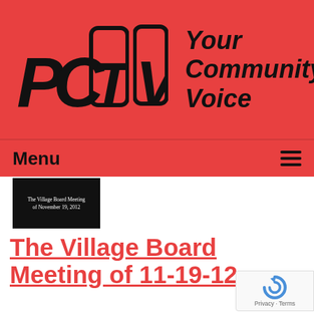[Figure (logo): PCTV logo with text 'Your Community Voice' on a red background]
Menu
[Figure (photo): Thumbnail image showing 'The Village Board Meeting of November 19, 2012' on dark background]
The Village Board Meeting of 11-19-12
Airdate: 11/19/2012
Watched: 44 times
[Figure (photo): Thumbnail image showing 'The Village Board Meeting of November 5, 2012' on dark background]